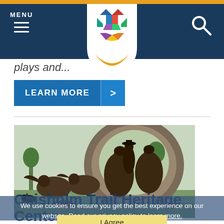MENU navigation bar with hamburger icon, logo shield, and search icon
plays and...
LEARN MORE >
[Figure (photo): Bronze sculpture monument depicting a cowboy on horseback with longhorn cattle, Chisholm Trail Heritage Center]
Chisholm Trail Heritage Center
We use cookies to ensure you get the best experience on our website. Read our privacy policy to learn more.
I Agree